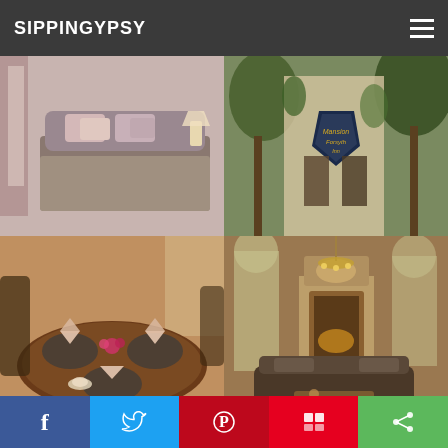SIPPINGYPSY
[Figure (photo): Hotel bedroom with mauve/pink curtains, tufted headboard, and decorative pillows]
[Figure (photo): Exterior sign for the Mansion on Forsyth Park Victorian Inn surrounded by trees and ivy]
[Figure (photo): Dining table set with folded napkins, place settings, and pink flowers]
[Figure (photo): Elegant hotel lounge with ornate fireplace, mural walls, and dark furniture]
2.  The Mansion on Forsyth Park
This beautiful hotel reinstated my faith in small chain